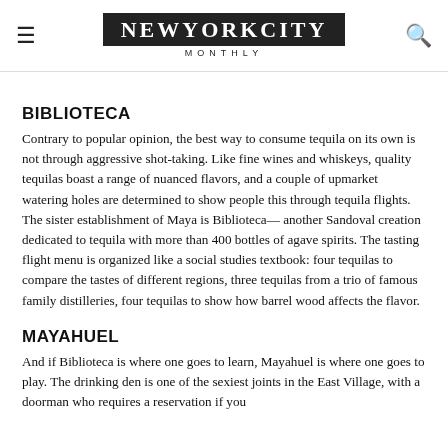New York City Monthly
BIBLIOTECA
Contrary to popular opinion, the best way to consume tequila on its own is not through aggressive shot-taking. Like fine wines and whiskeys, quality tequilas boast a range of nuanced flavors, and a couple of upmarket watering holes are determined to show people this through tequila flights. The sister establishment of Maya is Biblioteca— another Sandoval creation dedicated to tequila with more than 400 bottles of agave spirits. The tasting flight menu is organized like a social studies textbook: four tequilas to compare the tastes of different regions, three tequilas from a trio of famous family distilleries, four tequilas to show how barrel wood affects the flavor.
MAYAHUEL
And if Biblioteca is where one goes to learn, Mayahuel is where one goes to play. The drinking den is one of the sexiest joints in the East Village, with a doorman who requires a reservation if you